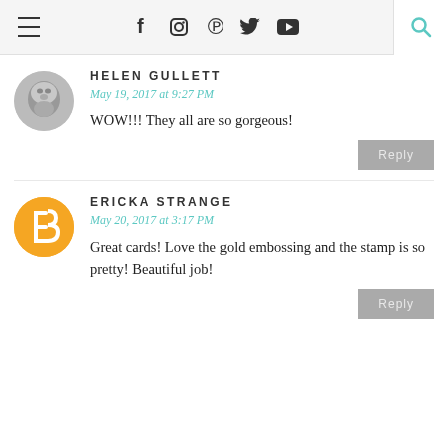≡  f  [instagram]  p  [twitter]  [youtube]  [search]
HELEN GULLETT
May 19, 2017 at 9:27 PM
WOW!!! They all are so gorgeous!
Reply
ERICKA STRANGE
May 20, 2017 at 3:17 PM
Great cards! Love the gold embossing and the stamp is so pretty! Beautiful job!
Reply